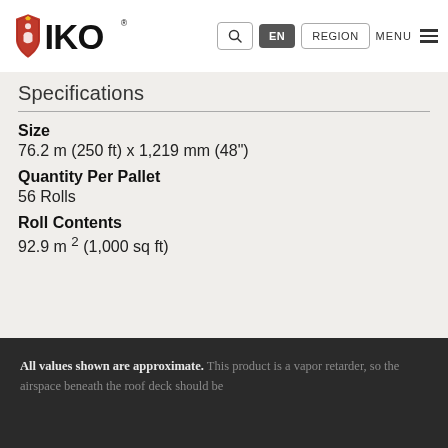[Figure (logo): IKO logo with red shield icon and black IKO text with registered trademark symbol]
Q   EN   REGION   MENU
Specifications
Size
76.2 m (250 ft) x 1,219 mm (48")
Quantity Per Pallet
56 Rolls
Roll Contents
92.9 m² (1,000 sq ft)
All values shown are approximate. This product is a vapor retarder, so the airspace beneath the roof deck should be